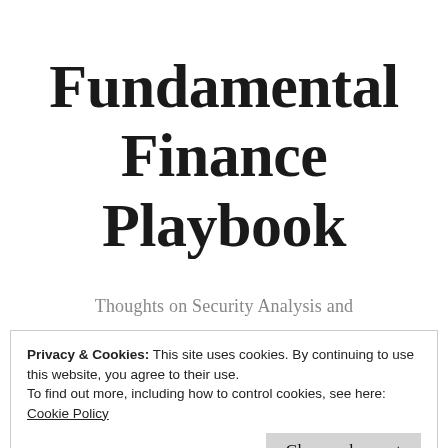Fundamental Finance Playbook
Thoughts on Security Analysis and
Privacy & Cookies: This site uses cookies. By continuing to use this website, you agree to their use.
To find out more, including how to control cookies, see here:
Cookie Policy
Close and accept